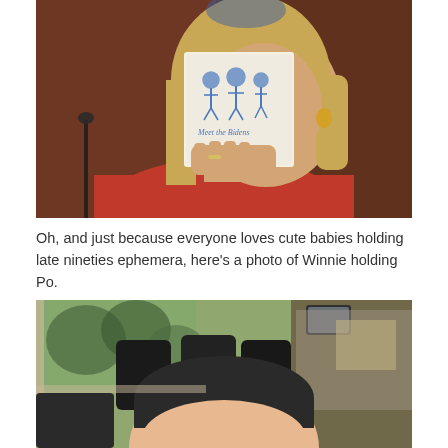[Figure (photo): A woman with long blonde hair holding up a small book or booklet that partially covers the lower half of her face. She is wearing a red top and gold earrings. She appears to be seated at a hearing table. Background shows a dark wood-paneled wall and a microphone.]
Oh, and just because everyone loves cute babies holding late nineties ephemera, here's a photo of Winnie holding Po.
[Figure (photo): Interior of a car/van. In the foreground is the back of a baby's head wearing a dark hat, sitting in a car seat. Car seats and headrests are visible in the background, along with windows showing outdoor trees and a parking area.]